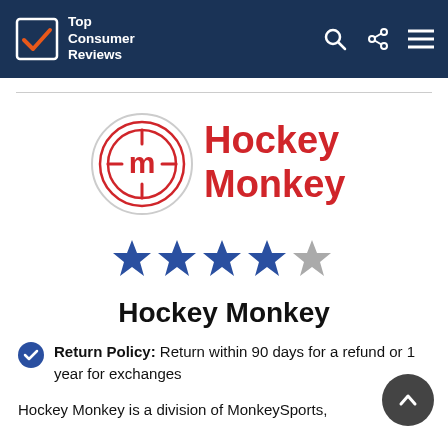Top Consumer Reviews
[Figure (logo): Hockey Monkey logo with circular target icon and red bold text]
[Figure (other): 4 out of 5 stars rating — 4 filled blue stars and 1 grey star]
Hockey Monkey
Return Policy: Return within 90 days for a refund or 1 year for exchanges
Hockey Monkey is a division of MonkeySports,